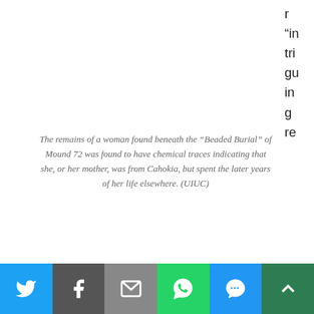r “in tri gu in g re
The remains of a woman found beneath the “Beaded Burial” of Mound 72 was found to have chemical traces indicating that she, or her mother, was from Cahokia, but spent the later years of her life elsewhere. (UIUC)
sults” from the mound, the team says, are from a woman found beneath a male whose remains were ornamented with a lavish blanket made from shell beads, Cahokia’s so-called “Beaded Burial.”
In this case, the woman’s earliest teeth — the ones she formed in infancy — were found to have strontium levels consistent with Cahokia’s local environment. But her adult teeth show that she had spent her later